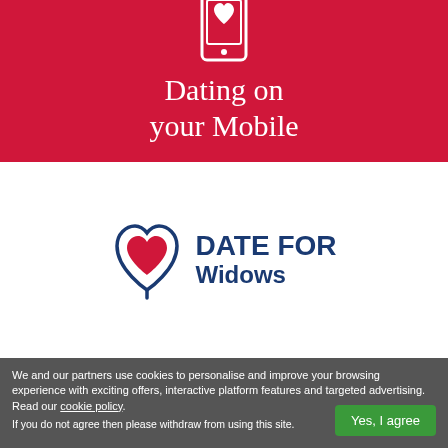[Figure (illustration): White smartphone icon with a heart on its screen, on a red background]
Dating on your Mobile
[Figure (logo): Date For Widows logo: blue heart outline with red heart inside, next to bold blue text 'DATE FOR Widows']
We and our partners use cookies to personalise and improve your browsing experience with exciting offers, interactive platform features and targeted advertising. Read our cookie policy.
If you do not agree then please withdraw from using this site.